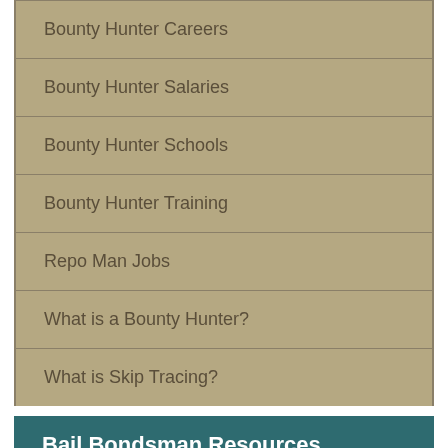Bounty Hunter Careers
Bounty Hunter Salaries
Bounty Hunter Schools
Bounty Hunter Training
Repo Man Jobs
What is a Bounty Hunter?
What is Skip Tracing?
Bail Bondsman Resources
Bail Bonds Schools